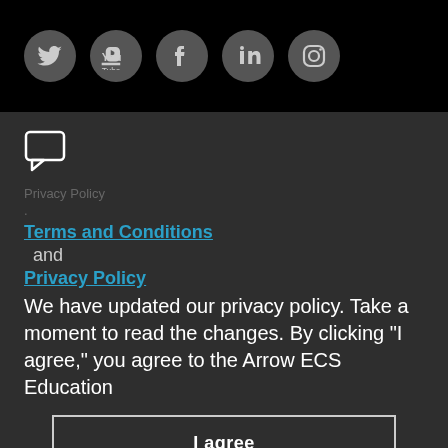[Figure (illustration): Social media icon circles: Twitter, YouTube, Facebook, LinkedIn, Instagram on black background]
[Figure (illustration): Chat bubble / comment icon in white outline]
Privacy Policy
.
Terms and Conditions
and
Privacy Policy
We have updated our privacy policy. Take a moment to read the changes. By clicking "I agree," you agree to the Arrow ECS Education
I agree